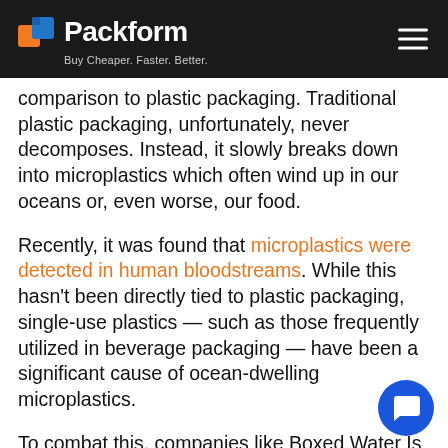Packform — Buy Cheaper. Faster. Better.
comparison to plastic packaging. Traditional plastic packaging, unfortunately, never decomposes. Instead, it slowly breaks down into microplastics which often wind up in our oceans or, even worse, our food.
Recently, it was found that microplastics were detected in human bloodstreams. While this hasn't been directly tied to plastic packaging, single-use plastics — such as those frequently utilized in beverage packaging — have been a significant cause of ocean-dwelling microplastics.
To combat this, companies like Boxed Water Is Better are taking an active